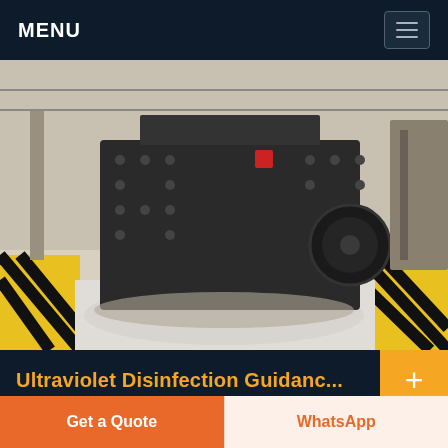MENU
[Figure (photo): Industrial heavy machinery (crusher/mill equipment) on a factory floor with yellow-black safety markings]
Ultraviolet Disinfection Guidanc...
UV Absorbance Characteristics of Common Water Treatment Chemicals 234 Table Potential Method to Determine Design Flow 312 Table Summary of UVT Data Collection and Analysis 314 Table Summary of Fouling